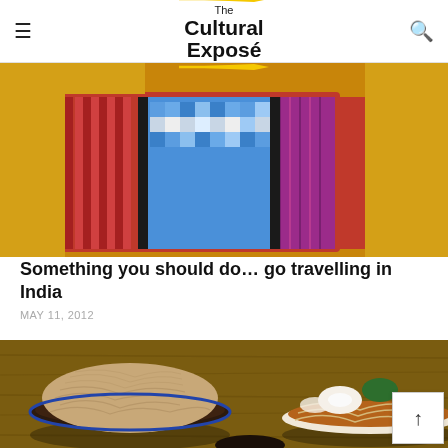The Cultural Exposé
[Figure (photo): Colorful woven textile fabric with blue, red, purple and yellow pixelated pattern on a yellow background]
Something you should do… go travelling in India
MAY 11, 2012
[Figure (photo): Overhead view of bowls of noodles including soba noodles and ramen with toppings on a wooden table]